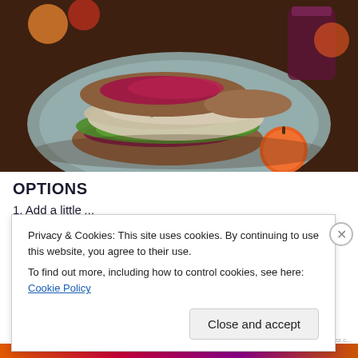[Figure (photo): A turkey sandwich with lettuce and cranberry/beet spread on a rustic plate, with persimmons and a jar of dark liquid in the background.]
OPTIONS
1. Add a little...
Privacy & Cookies: This site uses cookies. By continuing to use this website, you agree to their use.
To find out more, including how to control cookies, see here: Cookie Policy
Close and accept